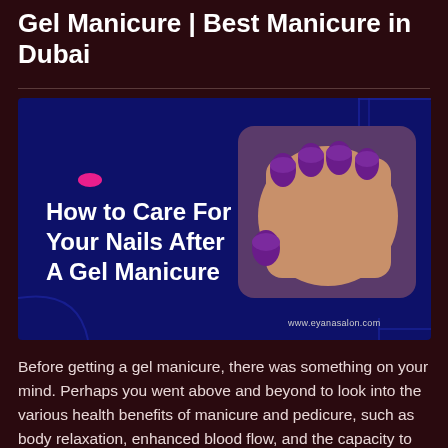Gel Manicure | Best Manicure in Dubai
[Figure (illustration): Promotional banner with dark blue background showing text 'How to Care For Your Nails After A Gel Manicure' on left and a photo of hands with purple gel nail polish on right. Website URL www.eyanasalon.com shown at bottom right.]
Before getting a gel manicure, there was something on your mind. Perhaps you went above and beyond to look into the various health benefits of manicure and pedicure, such as body relaxation, enhanced blood flow, and the capacity to keep nails smooth and soft. However, getting your nails done was only the beginning. Aftercare is the